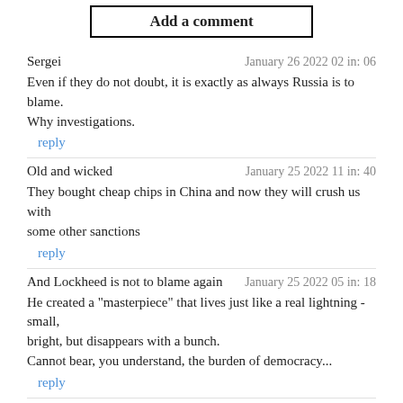Add a comment
Sergei
January 26 2022 02 in: 06
Even if they do not doubt, it is exactly as always Russia is to blame. Why investigations.
reply
Old and wicked
January 25 2022 11 in: 40
They bought cheap chips in China and now they will crush us with some other sanctions
reply
And Lockheed is not to blame again
January 25 2022 05 in: 18
He created a "masterpiece" that lives just like a real lightning - small, bright, but disappears with a bunch.
Cannot bear, you understand, the burden of democracy...
reply
MK
January 25 2022 01 in: 34
"The plane was unable to land on the deck due to incorrect altitude displayed by the fighter." More details from here, please...
reply
vrchi
January 25 2022 01 in: 25